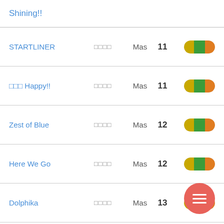Shining!!
STARTLINER  □□□□  Mas  11
□□□ Happy!!  □□□□  Mas  11
Zest of Blue  □□□□  Mas  12
Here We Go  □□□□  Mas  12
Dolphika  □□□□  Mas  13
P□P□P□P□□□!!  □□□□  Mas  12+
□□□□□□□□□□□□  □□□□  Mas  11+